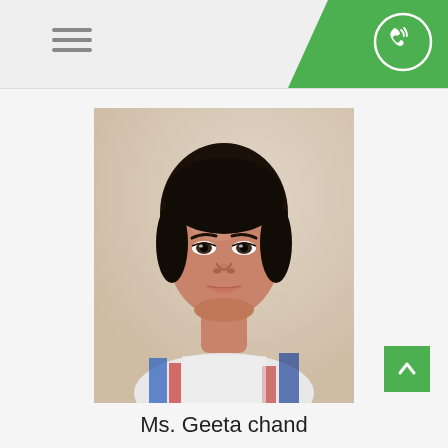[Figure (other): Website header with hamburger menu icon on the left, green diagonal shape with phone call icon in a circle on the top right]
[Figure (photo): Passport-style headshot photograph of Ms. Geeta Chand, a young woman with dark hair pulled back, facing forward, wearing a colorful patterned top, against a light beige background]
Ms. Geeta chand